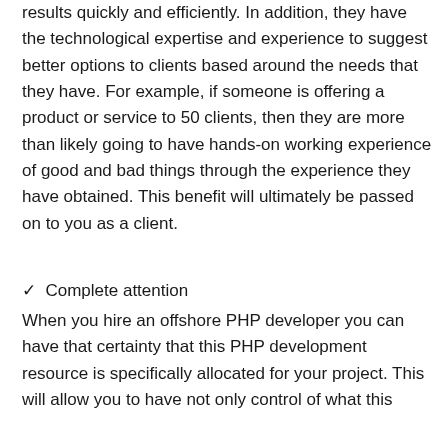results quickly and efficiently. In addition, they have the technological expertise and experience to suggest better options to clients based around the needs that they have. For example, if someone is offering a product or service to 50 clients, then they are more than likely going to have hands-on working experience of good and bad things through the experience they have obtained. This benefit will ultimately be passed on to you as a client.
✓  Complete attention
When you hire an offshore PHP developer you can have that certainty that this PHP development resource is specifically allocated for your project. This will allow you to have not only control of what this